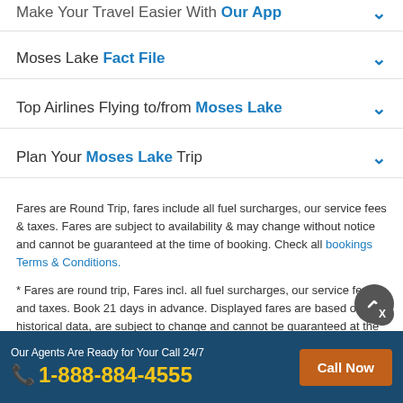Make Your Travel Easier With Our App
Moses Lake Fact File
Top Airlines Flying to/from Moses Lake
Plan Your Moses Lake Trip
Fares are Round Trip, fares include all fuel surcharges, our service fees & taxes. Fares are subject to availability & may change without notice and cannot be guaranteed at the time of booking. Check all bookings Terms & Conditions.
* Fares are round trip, Fares incl. all fuel surcharges, our service fees and taxes. Book 21 days in advance. Displayed fares are based on historical data, are subject to change and cannot be guaranteed at the time of booking.
**Save up to $15.00** with promo code - FLIGHT15. Applicable - $5 per passenger. Maximum - 3 Passengers. Applicable on Domestic & International
Our Agents Are Ready for Your Call 24/7  1-888-884-4555  Call Now